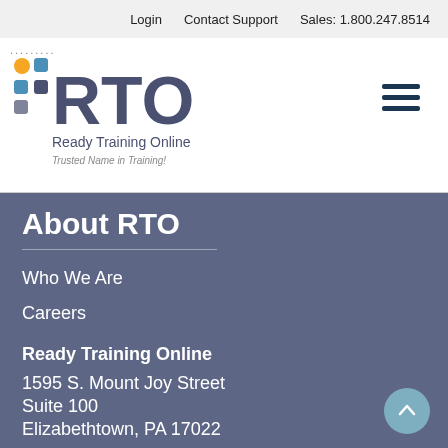Login   Contact Support   Sales: 1.800.247.8514
[Figure (logo): Ready Training Online (RTO) logo with colorful dot grid and tagline 'Trusted Name in Training!']
[Figure (other): Hamburger menu icon (three horizontal bars)]
About RTO
Who We Are
Careers
Ready Training Online
1595 S. Mount Joy Street
Suite 100
Elizabethtown, PA 17022